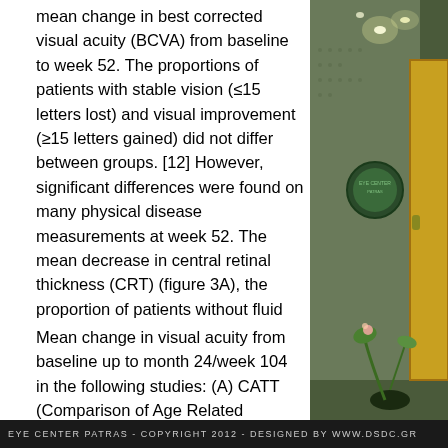mean change in best corrected visual acuity (BCVA) from baseline to week 52. The proportions of patients with stable vision (≤15 letters lost) and visual improvement (≥15 letters gained) did not differ between groups. [12] However, significant differences were found on many physical disease measurements at week 52. The mean decrease in central retinal thickness (CRT) (figure 3A), the proportion of patients without fluid on OCT (figure 3B) and the proportion of patients without dye leakage on fluorescein angiography (58.8%) were greatest for ranibizumab q4. [12]
[Figure (photo): Photo of Eye Center Patras interior with ceiling lights and yellow door]
Mean change in visual acuity from baseline up to month 24/week 104 in the following studies: (A) CATT (Comparison of Age Related Macular Degeneration Treatment Trials), (B) PIER, (C) EXCITE, (D) SUSTAIN, (E) SAILOR and (F) VIEW (VEGF Trap-Eye: Investigation of Efficacy and Safety in Wet Age Related Macular Degeneration). q4, q8, every 4 or 8 weeks, r
EYE CENTER PATRAS - COPYRIGHT 2012 - DESIGNED BY WWW.DSDC.GR